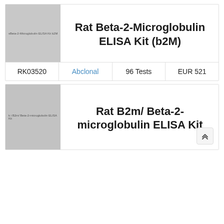[Figure (photo): Product image placeholder for Rat Beta-2-Microglobulin ELISA Kit (b2M)]
Rat Beta-2-Microglobulin ELISA Kit (b2M)
| RK03520 | Abclonal | 96 Tests | EUR 521 |
| --- | --- | --- | --- |
[Figure (photo): Product image placeholder for Rat B2m/ Beta-2-microglobulin ELISA Kit]
Rat B2m/ Beta-2-microglobulin ELISA Kit